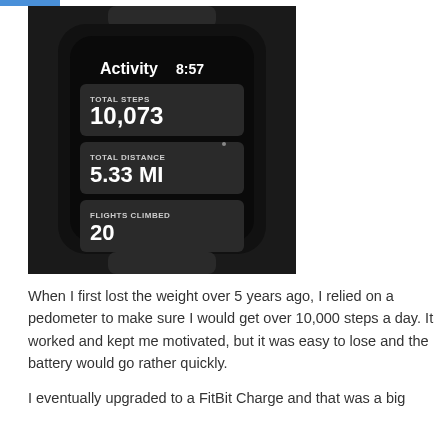[Figure (photo): Photo of a smartwatch (Apple Watch) displaying an Activity screen at time 8:57, showing: TOTAL STEPS 10,073 / TOTAL DISTANCE 5.33 MI / FLIGHTS CLIMBED 20. The watch has a dark/black screen with white text and rounded rectangular data cards.]
When I first lost the weight over 5 years ago, I relied on a pedometer to make sure I would get over 10,000 steps a day. It worked and kept me motivated, but it was easy to lose and the battery would go rather quickly.
I eventually upgraded to a FitBit Charge and that was a big